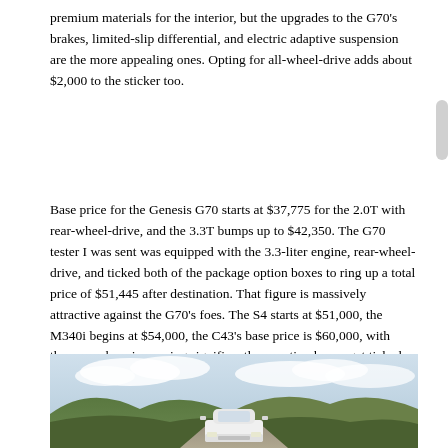premium materials for the interior, but the upgrades to the G70's brakes, limited-slip differential, and electric adaptive suspension are the more appealing ones. Opting for all-wheel-drive adds about $2,000 to the sticker too.
Base price for the Genesis G70 starts at $37,775 for the 2.0T with rear-wheel-drive, and the 3.3T bumps up to $42,350. The G70 tester I was sent was equipped with the 3.3-liter engine, rear-wheel-drive, and ticked both of the package option boxes to ring up a total price of $51,445 after destination. That figure is massively attractive against the G70's foes. The S4 starts at $51,000, the M340i begins at $54,000, the C43's base price is $60,000, with those numbers increasing significantly as option boxes get ticked.
[Figure (photo): Front view of a white Genesis G70 sedan on a road with hills and cloudy sky in the background]